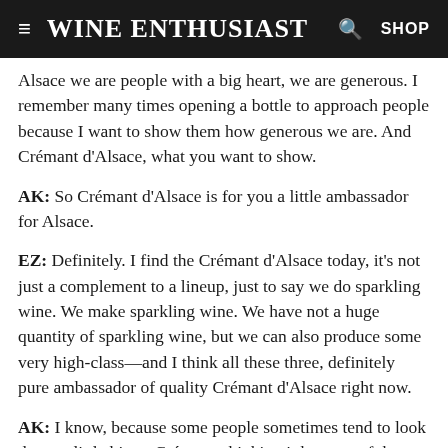Wine Enthusiast | SHOP
Alsace we are people with a big heart, we are generous. I remember many times opening a bottle to approach people because I want to show them how generous we are. And Crémant d'Alsace, what you want to show.
AK: So Crémant d'Alsace is for you a little ambassador for Alsace.
EZ: Definitely. I find the Crémant d'Alsace today, it's not just a complement to a lineup, just to say we do sparkling wine. We make sparkling wine. We have not a huge quantity of sparkling wine, but we can also produce some very high-class—and I think all these three, definitely pure ambassador of quality Crémant d'Alsace right now.
AK: I know, because some people sometimes tend to look down a little bit on Crémant, thinking it has sort of the stepchild, of, you know, they think Champagne is the real thing, and Crémant is a secondary product, which I don't...